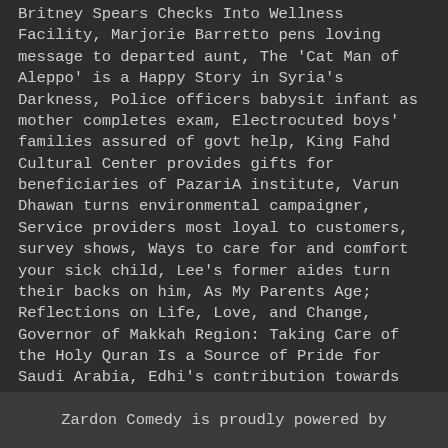Britney Spears Checks Into Wellness Facility, Marjorie Barretto pens loving message to departed aunt, The 'Cat Man of Aleppo' is a Happy Story in Syria's Darkness, Police officers babysit infant as mother completes exam, Electrocuted boys' families assured of govt help, King Fahd Cultural Center provides gifts for beneficiaries of PazariA institute, Varun Dhawan turns environmental campaigner, Service providers most loyal to customers, survey shows, Ways to care for and comfort your sick child, Lee's former aides turn their backs on him, As My Parents Age; Reflections on Life, Love, and Change, Governor of Makkah Region: Taking Care of the Holy Quran Is a Source of Pride for Saudi Arabia, Edhi's contribution towards poor society was remarkable, overwhelming. They will look after animals, bathing them, clipping their nails and cleaning
Zardon Comedy is proudly powered by